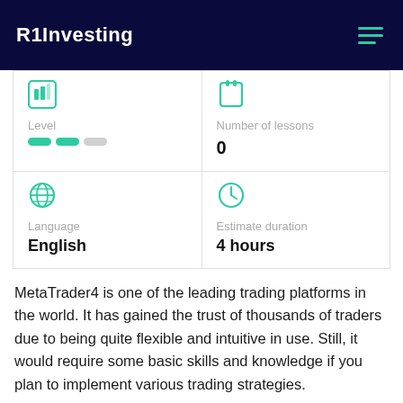R1Investing
| Level | Number of lessons |
| --- | --- |
| [level indicator: 2 filled, 1 empty] | 0 |
| Language / English | Estimate duration / 4 hours |
MetaTrader4 is one of the leading trading platforms in the world. It has gained the trust of thousands of traders due to being quite flexible and intuitive in use. Still, it would require some basic skills and knowledge if you plan to implement various trading strategies.